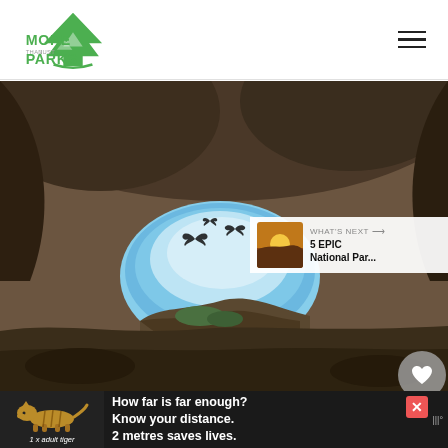[Figure (logo): More Than Just Parks logo with green arrowhead/tree emblem and text]
[Figure (photo): Cave interior looking outward through a large opening revealing blue sky; bats flying near the opening; rocky cave walls and ceiling with dark textures]
[Figure (infographic): WHAT'S NEXT panel with thumbnail of sunset landscape and text '5 EPIC National Par...']
[Figure (infographic): Ad banner: tiger silhouette illustration with text 'How far is far enough? Know your distance. 2 metres saves lives.' and '1 x adult tiger' label, with red X close button]